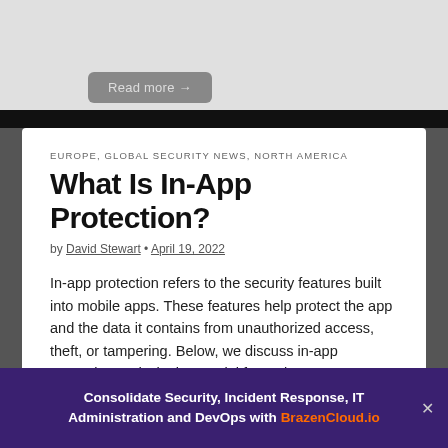Read more →
EUROPE, GLOBAL SECURITY NEWS, NORTH AMERICA
What Is In-App Protection?
by David Stewart • April 19, 2022
In-app protection refers to the security features built into mobile apps. These features help protect the app and the data it contains from unauthorized access, theft, or tampering. Below, we discuss in-app protection and why it's crucial for mob...
Read more →
Consolidate Security, Incident Response, IT Administration and DevOps with BrazenCloud.io